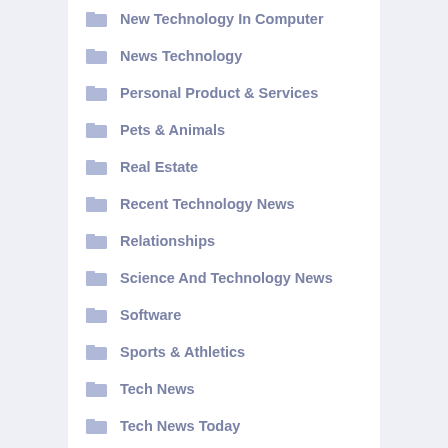New Technology In Computer
News Technology
Personal Product & Services
Pets & Animals
Real Estate
Recent Technology News
Relationships
Science And Technology News
Software
Sports & Athletics
Tech News
Tech News Today